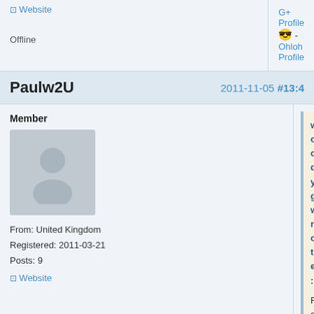Website
G+ Profile 😎 - Ohloh Profile
Offline
Paulw2U   2011-11-05 #13:4
Member
[Figure (illustration): Default user avatar: grey silhouette of a person on grey background]
From: United Kingdom
Registered: 2011-03-21
Posts: 9
Website
woodyg wrote:

For a newcomer it all looks a bit stale.

.. which is probably not the impr...